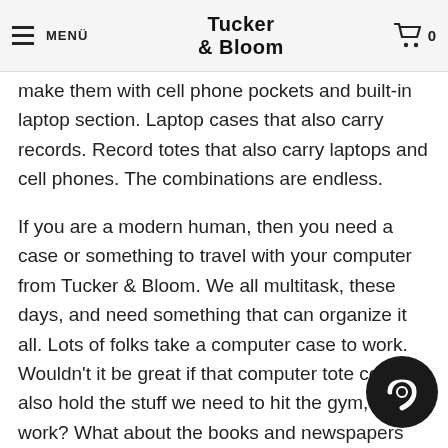MENÜ | Tucker & Bloom | 0
...that they make quality products. They make them with cell phone pockets and built-in laptop section. Laptop cases that also carry records. Record totes that also carry laptops and cell phones. The combinations are endless.
If you are a modern human, then you need a case or something to travel with your computer from Tucker & Bloom. We all multitask, these days, and need something that can organize it all. Lots of folks take a computer case to work. Wouldn't it be great if that computer tote could also hold the stuff we need to hit the gym, after work? What about the books and newspapers that we like to read on the train? There should be space for all of that, too, in our backpacks and netbook cases.